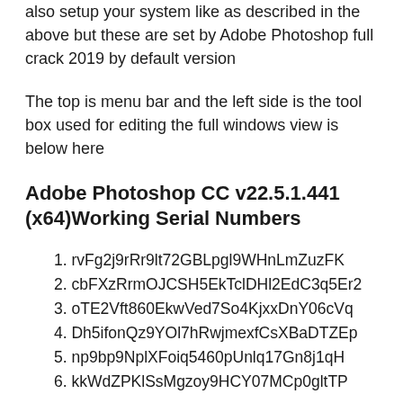also setup your system like as described in the above but these are set by Adobe Photoshop full crack 2019 by default version
The top is menu bar and the left side is the tool box used for editing the full windows view is below here
Adobe Photoshop CC v22.5.1.441 (x64)Working Serial Numbers
1. rvFg2j9rRr9lt72GBLpgl9WHnLmZuzFK
2. cbFXzRrmOJCSH5EkTclDHl2EdC3q5Er2
3. oTE2Vft860EkwVed7So4KjxxDnY06cVq
4. Dh5ifonQz9YOl7hRwjmexfCsXBaDTZEp
5. np9bp9NplXFoiq5460pUnlq17Gn8j1qH
6. kkWdZPKlSsMgzoy9HCY07MCp0gltTP